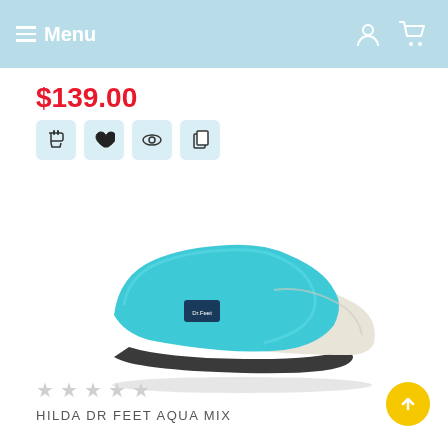Menu
$139.00
[Figure (photo): Aqua/teal and cream felted wool clog slipper with dark rubber sole, photographed at an angle on white background. The shoe has a small logo patch on the side.]
★★★★★ (empty stars rating)
HILDA DR FEET AQUA MIX